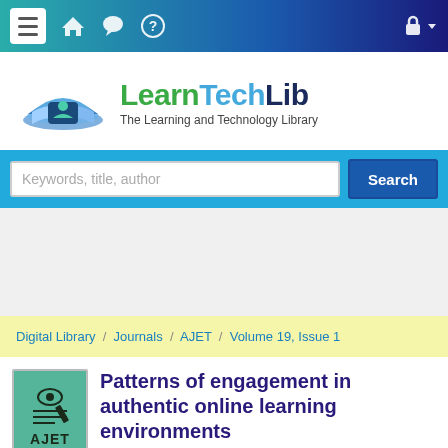LearnTechLib — The Learning and Technology Library
[Figure (logo): LearnTechLib logo with open book icon and tagline 'The Learning and Technology Library']
Keywords, title, author [Search]
Digital Library / Journals / AJET / Volume 19, Issue 1
Patterns of engagement in authentic online learning environments
[Figure (logo): AJET journal cover thumbnail — teal background with pen/eye icon and 'AJET' text]